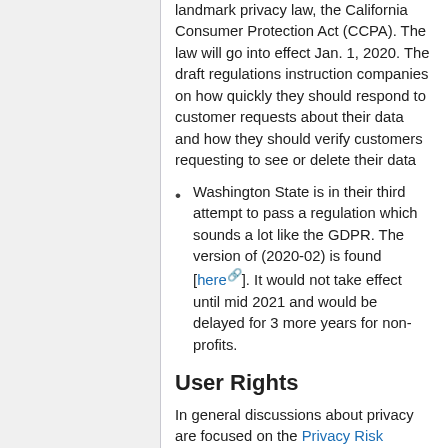landmark privacy law, the California Consumer Protection Act (CCPA). The law will go into effect Jan. 1, 2020. The draft regulations instruction companies on how quickly they should respond to customer requests about their data and how they should verify customers requesting to see or delete their data
Washington State is in their third attempt to pass a regulation which sounds a lot like the GDPR. The version of (2020-02) is found [here]. It would not take effect until mid 2021 and would be delayed for 3 more years for non-profits.
User Rights
In general discussions about privacy are focused on the Privacy Risk experienced